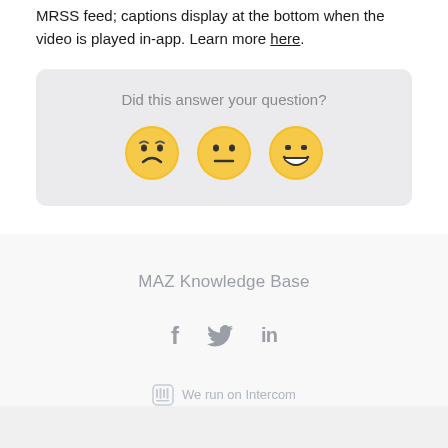MRSS feed; captions display at the bottom when the video is played in-app. Learn more here.
[Figure (infographic): Feedback widget asking 'Did this answer your question?' with three emoji faces: disappointed, neutral, and happy/grinning]
MAZ Knowledge Base
[Figure (infographic): Social media icons: Facebook (f), Twitter (bird), LinkedIn (in)]
We run on Intercom